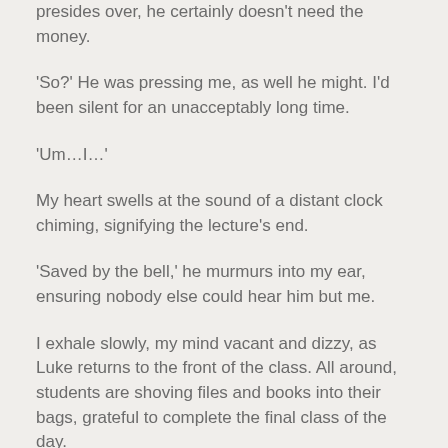presides over, he certainly doesn't need the money.
‘So?’  He was pressing me, as well he might.  I’d been silent for an unacceptably long time.
‘Um…I…’
My heart swells at the sound of a distant clock chiming, signifying the lecture’s end.
‘Saved by the bell,’ he murmurs into my ear, ensuring nobody else could hear him but me.
I exhale slowly, my mind vacant and dizzy, as Luke returns to the front of the class.  All around, students are shoving files and books into their bags, grateful to complete the final class of the day.